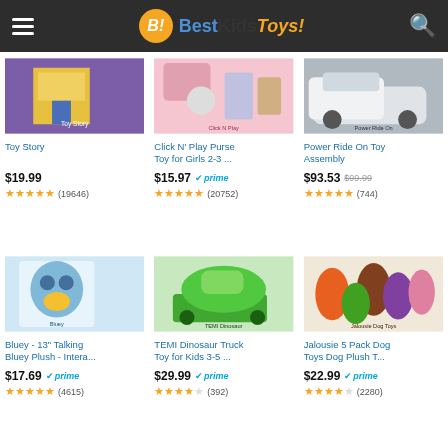BestKidsToys!
[Figure (screenshot): Toy Story product image - child in yellow jacket]
Toy Story
$19.99
(19646)
[Figure (screenshot): Click N Play Purse Toy for Girls 2-3 - pink toy purse with accessories]
Click N' Play Purse Toy for Girls 2-3 ...
$15.97 prime
(20752)
[Figure (screenshot): Power Ride On Toy Assembly - white car]
Power Ride On Toy Assembly
$93.53 $99.99
(744)
[Figure (screenshot): Bluey 13 inch Talking Bluey Plush - Interac... - blue dog plush toy in box]
Bluey - 13" Talking Bluey Plush - Intera...
$17.69 prime
(4615)
[Figure (screenshot): TEMI Dinosaur Truck Toy for Kids 3-5 - babies playing with dinosaur truck]
TEMI Dinosaur Truck Toy for Kids 3-5 ...
$29.99 prime
(392)
[Figure (screenshot): Jalousie 5 Pack Dog Toys Dog Plush T... - colorful dog plush toys]
Jalousie 5 Pack Dog Toys Dog Plush T...
$22.99 prime
(2280)